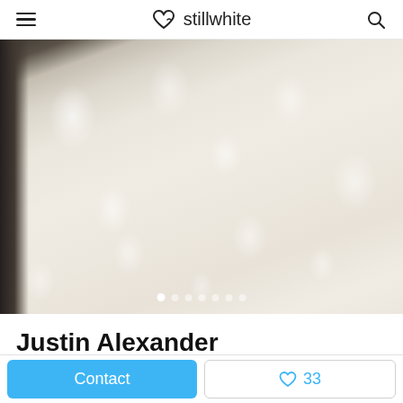stillwhite
[Figure (photo): Close-up photo of a white/ivory lace wedding dress with floral embroidery and beading. Left edge shows dark fabric. Image carousel with dot indicators at bottom showing 7 dots, first dot active.]
Justin Alexander
Contact
♡ 33